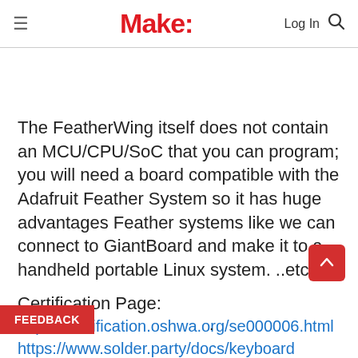Make:
The FeatherWing itself does not contain an MCU/CPU/SoC that you can program; you will need a board compatible with the Adafruit Feather System so it has huge advantages Feather systems like we can connect to GiantBoard and make it to a handheld portable Linux system. ..etc
Certification Page:
https://certification.oshwa.org/se000006.html
FEEDBACK
https://www.soldier.party/docs/keyboard